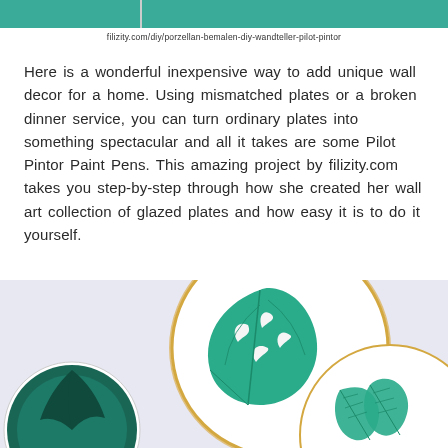filizity.com/diy/porzellan-bemalen-diy-wandteller-pilot-pintor
Here is a wonderful inexpensive way to add unique wall decor for a home. Using mismatched plates or a broken dinner service, you can turn ordinary plates into something spectacular and all it takes are some Pilot Pintor Paint Pens. This amazing project by filizity.com takes you step-by-step through how she created her wall art collection of glazed plates and how easy it is to do it yourself.
[Figure (photo): Photo of decorated white plates with green tropical leaf patterns painted on them, displayed on a light purple/grey background. Two plates are visible with teal/green Monstera leaf and tropical plant designs.]